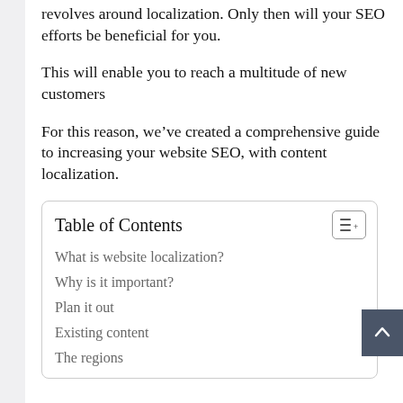revolves around localization. Only then will your SEO efforts be beneficial for you.
This will enable you to reach a multitude of new customers
For this reason, we've created a comprehensive guide to increasing your website SEO, with content localization.
Table of Contents
What is website localization?
Why is it important?
Plan it out
Existing content
The regions